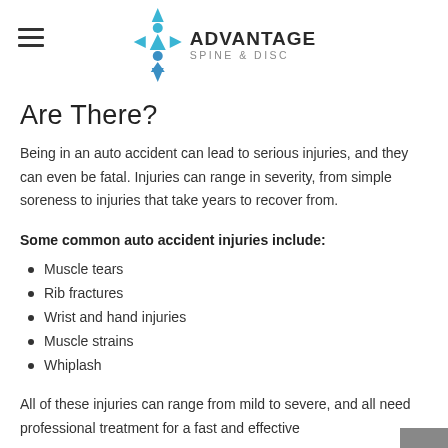[Figure (logo): Advantage Spine & Disc logo with teal/blue figure icon and text]
Are There?
Being in an auto accident can lead to serious injuries, and they can even be fatal. Injuries can range in severity, from simple soreness to injuries that take years to recover from.
Some common auto accident injuries include:
Muscle tears
Rib fractures
Wrist and hand injuries
Muscle strains
Whiplash
All of these injuries can range from mild to severe, and all need professional treatment for a fast and effective